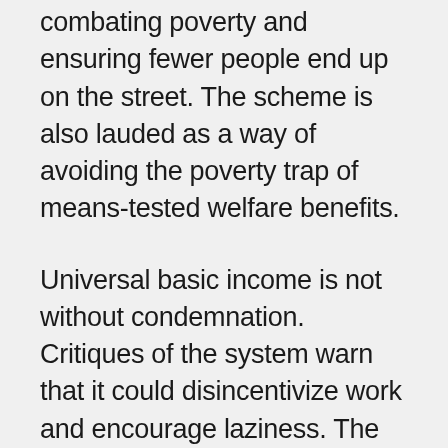combating poverty and ensuring fewer people end up on the street. The scheme is also lauded as a way of avoiding the poverty trap of means-tested welfare benefits.
Universal basic income is not without condemnation. Critiques of the system warn that it could disincentivize work and encourage laziness. The cost of implementing this type of welfare program is another primary criticism. Costing more than other benefits, some are cautionary that the payments would lead to high taxes, which, in turn, would also discourage people from working. Another leading concern is that more